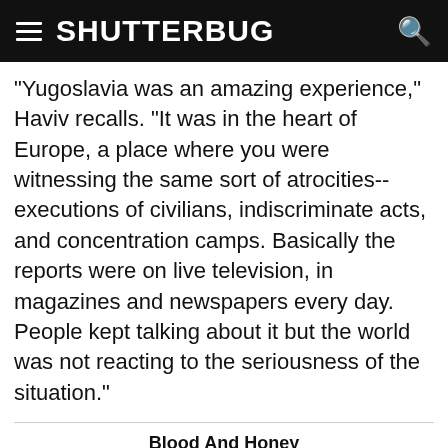SHUTTERBUG
"Yugoslavia was an amazing experience," Haviv recalls. "It was in the heart of Europe, a place where you were witnessing the same sort of atrocities--executions of civilians, indiscriminate acts, and concentration camps. Basically the reports were on live television, in magazines and newspapers every day. People kept talking about it but the world was not reacting to the seriousness of the situation."
Blood And Honey
[Figure (photo): Two children walking along a dirt path next to barbed wire fencing and dense green trees, with a blurred figure in the foreground right.]